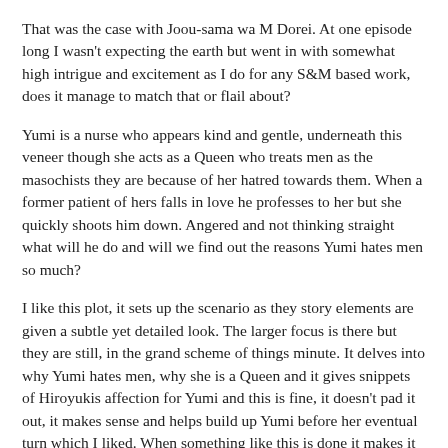That was the case with Joou-sama wa M Dorei. At one episode long I wasn't expecting the earth but went in with somewhat high intrigue and excitement as I do for any S&M based work, does it manage to match that or flail about?
Yumi is a nurse who appears kind and gentle, underneath this veneer though she acts as a Queen who treats men as the masochists they are because of her hatred towards them. When a former patient of hers falls in love he professes to her but she quickly shoots him down. Angered and not thinking straight what will he do and will we find out the reasons Yumi hates men so much?
I like this plot, it sets up the scenario as they story elements are given a subtle yet detailed look. The larger focus is there but they are still, in the grand scheme of things minute. It delves into why Yumi hates men, why she is a Queen and it gives snippets of Hiroyukis affection for Yumi and this is fine, it doesn't pad it out, it makes sense and helps build up Yumi before her eventual turn which I liked. When something like this is done it makes it more engaging, more immersive because you know more about the character. It also gives